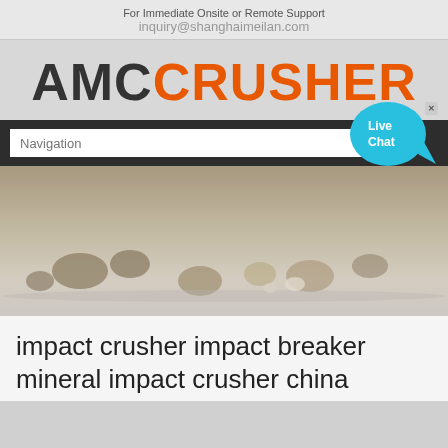For Immediate Onsite or Remote Support
inquiry@shanghaimeilan.com
[Figure (logo): AMCCRUSHER logo with AMC in dark/black and CRUSHER in orange, large bold text]
[Figure (screenshot): Navigation bar with white input field showing 'Navigation' placeholder text, and a Live Chat bubble in cyan/blue on the right side]
[Figure (photo): Hero image showing crushed rocks/minerals on a surface, muted brown and grey tones]
impact crusher impact breaker mineral impact crusher china